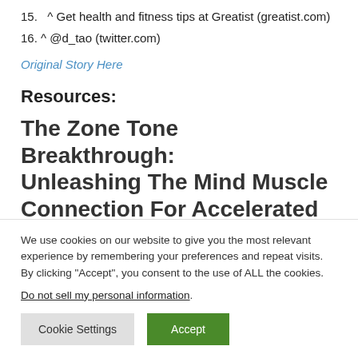15.  ^ Get health and fitness tips at Greatist (greatist.com)
16. ^ @d_tao (twitter.com)
Original Story Here
Resources:
The Zone Tone Breakthrough: Unleashing The Mind Muscle Connection For Accelerated Fat Loss,
We use cookies on our website to give you the most relevant experience by remembering your preferences and repeat visits. By clicking “Accept”, you consent to the use of ALL the cookies.
Do not sell my personal information.